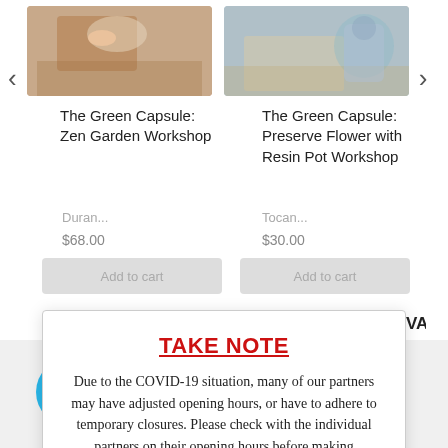[Figure (photo): Partial view of two product/workshop images at top of carousel, partially cut off]
The Green Capsule: Zen Garden Workshop
The Green Capsule: Preserve Flower with Resin Pot Workshop
TAKE NOTE
Due to the COVID-19 situation, many of our partners may have adjusted opening hours, or have to adhere to temporary closures. Please check with the individual partners on their opening hours before making purchases
CLOSE
[Figure (logo): Powered by eAIVA logo at bottom right]
[Figure (illustration): Cyan shopping cart bubble icon at bottom left]